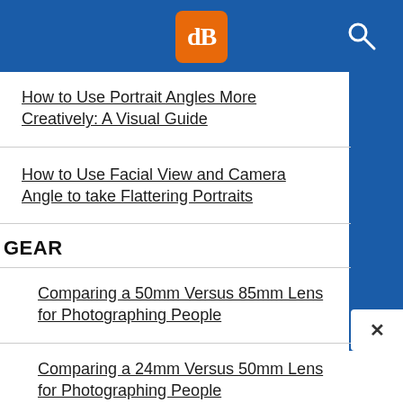dPS logo and search icon
How to Use Portrait Angles More Creatively: A Visual Guide
How to Use Facial View and Camera Angle to take Flattering Portraits
GEAR
Comparing a 50mm Versus 85mm Lens for Photographing People
Comparing a 24mm Versus 50mm Lens for Photographing People
3 Tips for Taking Portraits with a Kit Lens